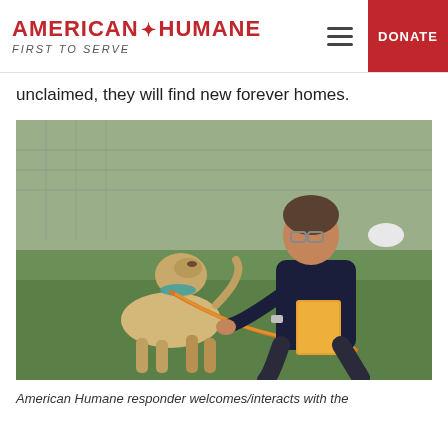AMERICAN HUMANE FIRST TO SERVE | DONATE
unclaimed, they will find new forever homes.
[Figure (photo): A person in a dark blue uniform crouching down on grass, holding an orange leash attached to a light tan/cream colored dog. The dog is looking up toward the person's face. There is a chain-link fence and outdoor shelter area in the background.]
American Humane responder welcomes/interacts with the